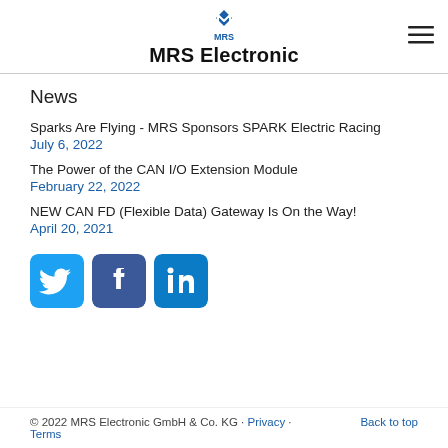[Figure (logo): MRS Electronic logo — stylized M with diamond shape above, blue color, text MRS below]
MRS Electronic
News
Sparks Are Flying - MRS Sponsors SPARK Electric Racing
July 6, 2022
The Power of the CAN I/O Extension Module
February 22, 2022
NEW CAN FD (Flexible Data) Gateway Is On the Way!
April 20, 2021
[Figure (infographic): Social media icons: Twitter (blue bird icon), Facebook (dark blue f icon), LinkedIn (blue in icon)]
© 2022 MRS Electronic GmbH & Co. KG · Privacy · Terms    Back to top